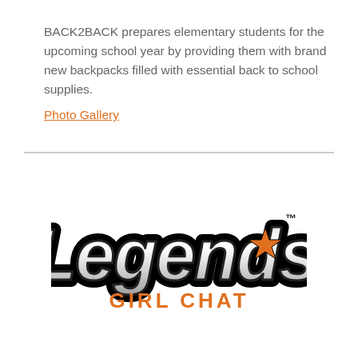BACK2BACK prepares elementary students for the upcoming school year by providing them with brand new backpacks filled with essential back to school supplies.
Photo Gallery
[Figure (logo): Legends Girl Chat logo — script lettering 'Legends' with an orange star, and 'GIRL CHAT' in orange bold caps below]